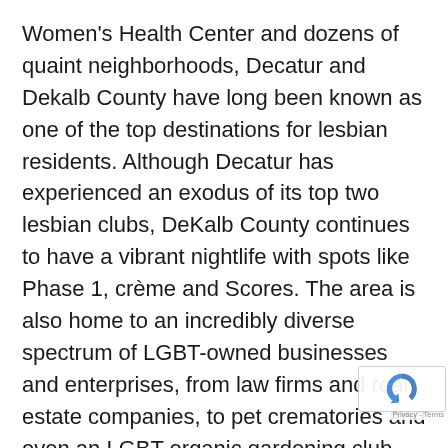Women's Health Center and dozens of quaint neighborhoods, Decatur and Dekalb County have long been known as one of the top destinations for lesbian residents. Although Decatur has experienced an exodus of its top two lesbian clubs, DeKalb County continues to have a vibrant nightlife with spots like Phase 1, crème and Scores. The area is also home to an incredibly diverse spectrum of LGBT-owned businesses and enterprises, from law firms and real estate companies, to pet crematories and even an LGBT organic gardening club. Downtown Downtown Atlanta and surrounding neighborhoods such as Old Fourth Ward, Mechanicsville and Castleberry Hills are in the midst of a turnaround, and as usual, LGBT residents are helping lead the way to neighborhood revitalization. Young LGBT professionals are seizing deals to become homeowners, creating new gayborhoods in the process. The overall nightlife scene in downtown has waned over the years, but a handful of clubs such as Rain, Django and the now Xcoss Ultra